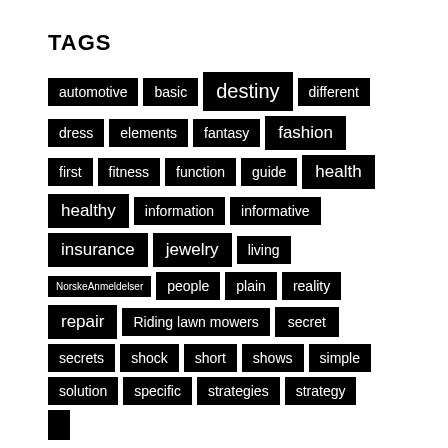TAGS
automotive
basic
destiny
different
dress
elements
fantasy
fashion
first
fitness
function
guide
health
healthy
information
informative
insurance
jewelry
living
NorskeAnmeldelser
people
plain
reality
repair
Riding lawn mowers
secret
secrets
shock
short
shows
simple
solution
specific
strategies
strategy